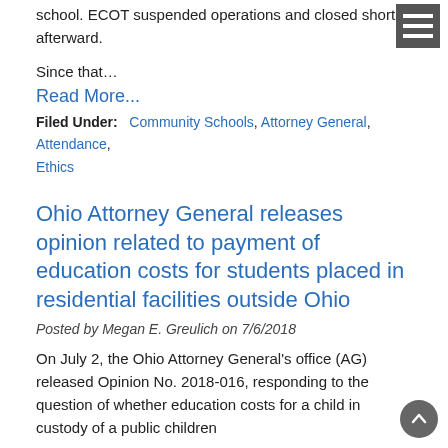school. ECOT suspended operations and closed shortly afterward.
Since that…
Read More...
Filed Under: Community Schools, Attorney General, Attendance, Ethics
Ohio Attorney General releases opinion related to payment of education costs for students placed in residential facilities outside Ohio
Posted by Megan E. Greulich on 7/6/2018
On July 2, the Ohio Attorney General's office (AG) released Opinion No. 2018-016, responding to the question of whether education costs for a child in custody of a public children